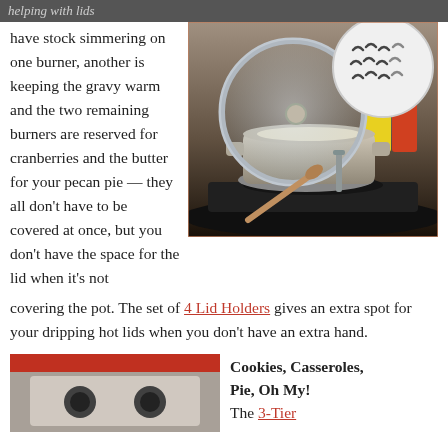helping with lids
have stock simmering on one burner, another is keeping the gravy warm and the two remaining burners are reserved for cranberries and the butter for your pecan pie — they all don't have to be covered at once, but you don't have the space for the lid when it's not covering the pot. The set of 4 Lid Holders gives an extra spot for your dripping hot lids when you don't have an extra hand.
[Figure (photo): A pot with a glass lid propped on a lid holder on a stovetop. Inset circle showing set of 4 lid holders.]
[Figure (photo): Partial view of a kitchen appliance or baking rack at bottom left.]
Cookies, Casseroles, Pie, Oh My!
The 3-Tier